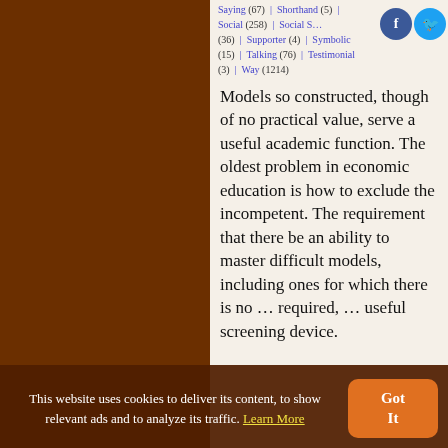Saying (67) | Shorthand (5) | Social (258) | Social S… (36) | Supporter (4) | Symbolic (15) | Talking (76) | Testimonial (3) | Way (1214)
Models so constructed, though of no practical value, serve a useful academic function. The oldest problem in economic education is how to exclude the incompetent. The requirement that there be an ability to master difficult models, including ones for which there is no … required, … useful screening device.